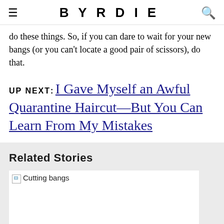BYRDIE
do these things. So, if you can dare to wait for your new bangs (or you can't locate a good pair of scissors), do that.
UP NEXT: I Gave Myself an Awful Quarantine Haircut—But You Can Learn From My Mistakes
Related Stories
[Figure (photo): Cutting bangs image placeholder with broken image icon]